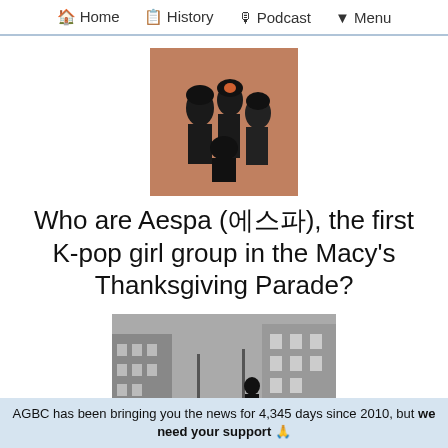🏠 Home  📋 History  🎙 Podcast  ▼ Menu
[Figure (photo): Photo of Aespa K-pop girl group members posing together]
Who are Aespa (에스파), the first K-pop girl group in the Macy's Thanksgiving Parade?
[Figure (photo): Street scene photo showing a person near city buildings]
AGBC has been bringing you the news for 4,345 days since 2010, but we need your support 🙏